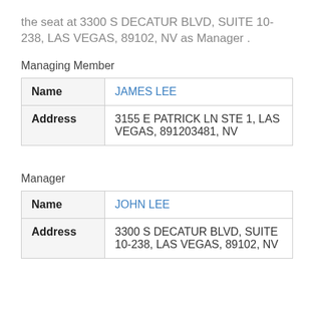the seat at 3300 S DECATUR BLVD, SUITE 10-238, LAS VEGAS, 89102, NV as Manager .
Managing Member
| Name | JAMES LEE |
| Address | 3155 E PATRICK LN STE 1, LAS VEGAS, 891203481, NV |
Manager
| Name | JOHN LEE |
| Address | 3300 S DECATUR BLVD, SUITE 10-238, LAS VEGAS, 89102, NV |